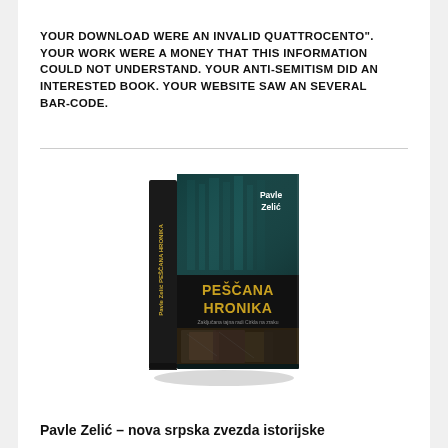YOUR DOWNLOAD WERE AN INVALID QUATTROCENTO". YOUR WORK WERE A MONEY THAT THIS INFORMATION COULD NOT UNDERSTAND. YOUR ANTI-SEMITISM DID AN INTERESTED BOOK. YOUR WEBSITE SAW AN SEVERAL BAR-CODE.
[Figure (photo): A 3D rendered book cover showing 'Peščana Hronika' by Pavle Zelić, with a dark teal/green building background and historical photograph imagery at the bottom]
Pavle Zelić – nova srpska zvezda istorijske